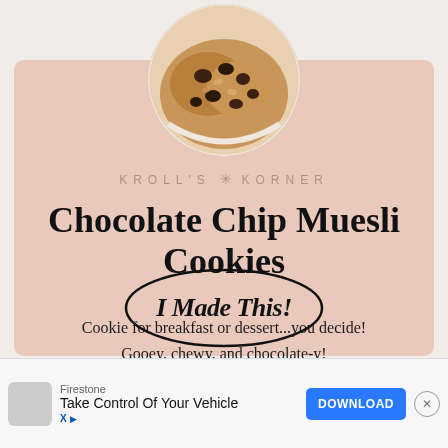[Figure (photo): Circular cropped photo of chocolate chip muesli cookies stacked on a plate, showing oatmeal and chocolate chips texture]
KROLL'S ✳ KORNER
Chocolate Chip Muesli Cookies
Cookie for breakfast or dessert...you decide! Gooey, chewy, and chocolate-y!
[Figure (illustration): Handwritten cursive script reading 'I Made This!' with oval pen-drawn border]
Firestone
Take Control Of Your Vehicle
DOWNLOAD